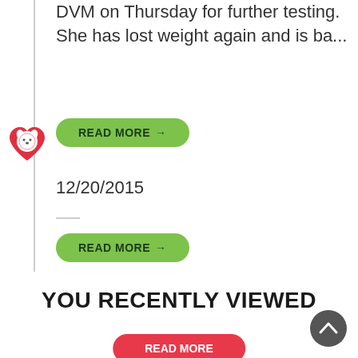DVM on Thursday for further testing. She has lost weight again and is ba...
READ MORE →
12/20/2015
READ MORE →
YOU RECENTLY VIEWED
[Figure (logo): Red heart icon with white dog face silhouette]
[Figure (other): Grey circular back-to-top button with upward chevron]